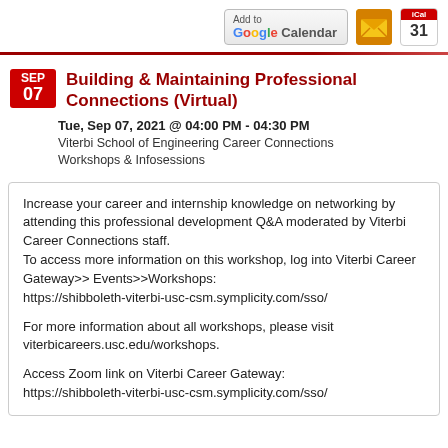[Figure (other): Top right icons: Add to Google Calendar button, email icon, iCal icon]
Building & Maintaining Professional Connections (Virtual)
Tue, Sep 07, 2021 @ 04:00 PM - 04:30 PM
Viterbi School of Engineering Career Connections Workshops & Infosessions
Increase your career and internship knowledge on networking by attending this professional development Q&A moderated by Viterbi Career Connections staff.
To access more information on this workshop, log into Viterbi Career Gateway>> Events>>Workshops: https://shibboleth-viterbi-usc-csm.symplicity.com/sso/

For more information about all workshops, please visit viterbicareers.usc.edu/workshops.

Access Zoom link on Viterbi Career Gateway: https://shibboleth-viterbi-usc-csm.symplicity.com/sso/